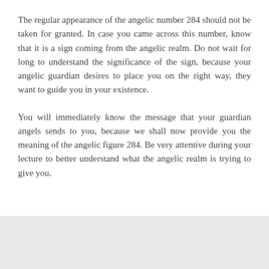The regular appearance of the angelic number 284 should not be taken for granted. In case you came across this number, know that it is a sign coming from the angelic realm. Do not wait for long to understand the significance of the sign, because your angelic guardian desires to place you on the right way, they want to guide you in your existence.
You will immediately know the message that your guardian angels sends to you, because we shall now provide you the meaning of the angelic figure 284. Be very attentive during your lecture to better understand what the angelic realm is trying to give you.